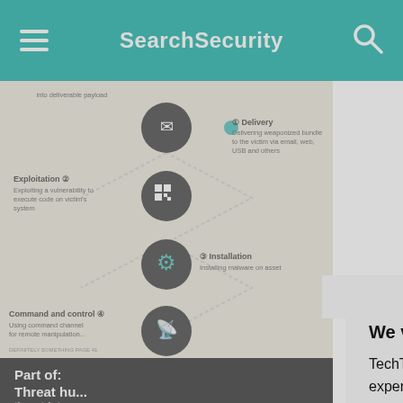SearchSecurity
[Figure (infographic): Cyber kill chain infographic showing steps: Delivery (delivering weaponized bundle to the victim via email, web, USB and others), Exploitation (exploiting a vulnerability to execute code on victim's system), Installation (installing malware on asset), Command and control (using command channel for remote manipulation). Dark circles with icons connected by lines on a beige background.]
Part of: Threat hu... threat-int...
Article 1 of 5
Up N... 5 cyb... evalu...
We value your privacy. TechTarget and its partners employ cookies to improve your experience on our site, to analyze traffic and performance, and to serve personalized content and advertising that are relevant to your professional interests. You can manage your settings at any time. Please view our Privacy Policy for more information